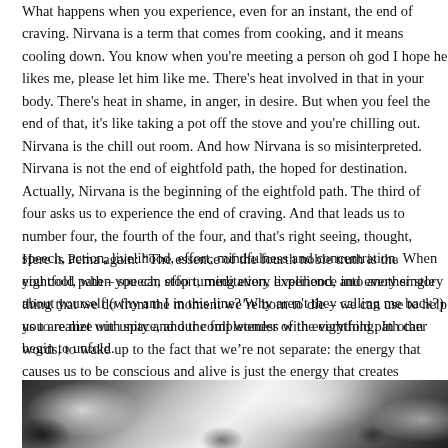What happens when you experience, even for an instant, the end of craving. Nirvana is a term that comes from cooking, and it means cooling down. You know when you're meeting a person oh god I hope he likes me, please let him like me. There's heat involved in that in your body. There's heat in shame, in anger, in desire. But when you feel the end of that, it's like taking a pot off the stove and you're chilling out. Nirvana is the chill out room. And how Nirvana is so misinterpreted. Nirvana is not the end of eightfold path, the hoped for destination. Actually, Nirvana is the beginning of the eightfold path. The third of four asks us to experience the end of craving. And that leads us to number four, the fourth of the four, and that's right seeing, thought, speech, action, livelihood, effort, mindfulness and concentration. When you cool, when you can stop turning every experience into another story about yourself (why am I in this line? Why aren't they calling me back?) you are met with space, and the full wonder of the eightfold path can begin to unfold.
Here is Pema again: "The essence of the fourth noble truth is the eightfold path – speech, effort, meditation, livelihood, and every single thing that we do from the moment we're born to die – we can use to help us to realize our unity and our completeness with everything. In other words, to wake up to the fact that we're not separate: the energy that causes us to be conscious and alive is just the energy that creates everything, and we're part of that. We can either use that, or we can use them to become resentful, alienated, resistant, angry, b
[Figure (photo): Black and white photograph of clouds or cloudy sky, partially visible at bottom of page]